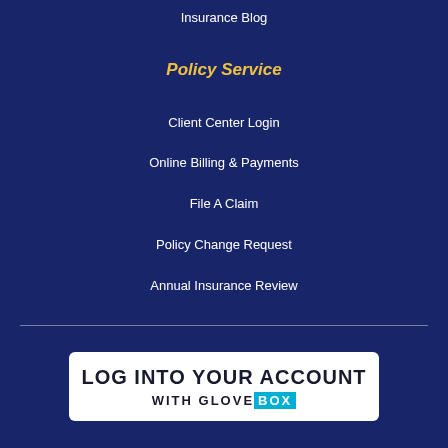Insurance Blog
Policy Service
Client Center Login
Online Billing & Payments
File A Claim
Policy Change Request
Annual Insurance Review
[Figure (logo): GloveBox login banner: white rounded rectangle with bold dark text reading 'LOG INTO YOUR ACCOUNT WITH GLOVEBOX' where BOX is highlighted in cyan/teal background.]